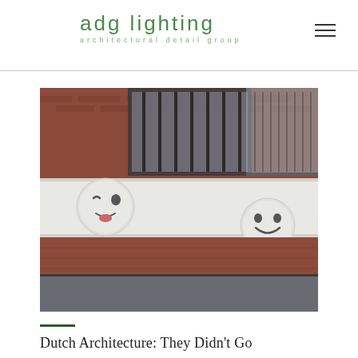adg lighting
architectural detail group
[Figure (photo): Photo of a Dutch brick building facade featuring two large white circular emoji face sculptures embedded in a white horizontal band. One emoji appears to be winking and sticking its tongue out, the other is smiling. Dark metal railings visible behind the brick at the top.]
Dutch Architecture: They Didn't Go